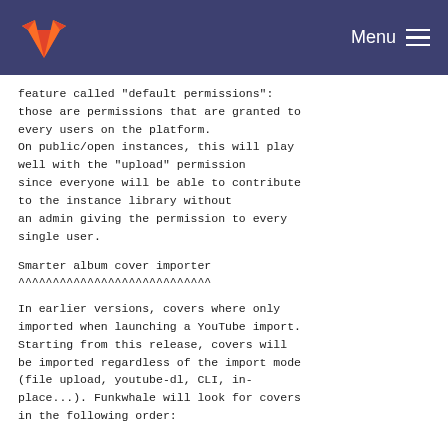Menu
feature called "default permissions":
those are permissions that are granted to
every users on the platform.
On public/open instances, this will play
well with the "upload" permission
since everyone will be able to contribute
to the instance library without
an admin giving the permission to every
single user.
Smarter album cover importer
^^^^^^^^^^^^^^^^^^^^^^^^^^^^
In earlier versions, covers where only
imported when launching a YouTube import.
Starting from this release, covers will
be imported regardless of the import mode
(file upload, youtube-dl, CLI, in-
place...). Funkwhale will look for covers
in the following order: